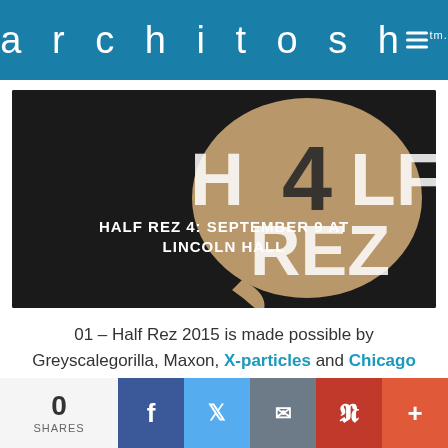architosh™ ≡
[Figure (photo): Half Rez 4 event promotional image with dark background, tan speech bubble logo, and text overlay reading HALF REZ 4: SEPTEMBER 9 AT LINCOLN HALL]
01 – Half Rez 2015 is made possible by Greyscalegorilla, Maxon, X-particles and Chicago C4D
0 SHARES | Facebook | Twitter | Email | Pinterest | +